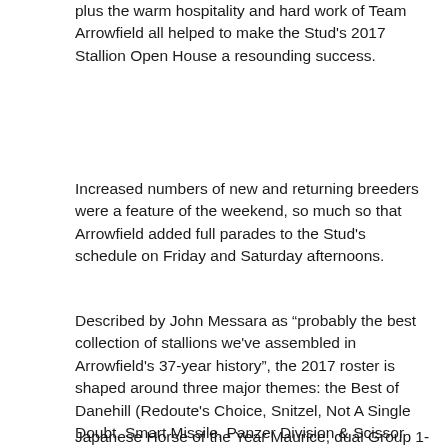plus the warm hospitality and hard work of Team Arrowfield all helped to make the Stud's 2017 Stallion Open House a resounding success.
Increased numbers of new and returning breeders were a feature of the weekend, so much so that Arrowfield added full parades to the Stud's schedule on Friday and Saturday afternoons.
Described by John Messara as “probably the best collection of stallions we've assembled in Arrowfield's 37-year history”, the 2017 roster is shaped around three major themes: the Best of Danehill (Redoute's Choice, Snitzel, Not A Single Doubt, Smart Missile, Panzer Division & Scissor Kick);  Japanese Champions (Maurice, Mikki Isle & Real Impact); and Global Superstars (Animal Kingdom, Dundeel & Shalaa).
Japanese Horse of the Year Maurice, dual Group 1-